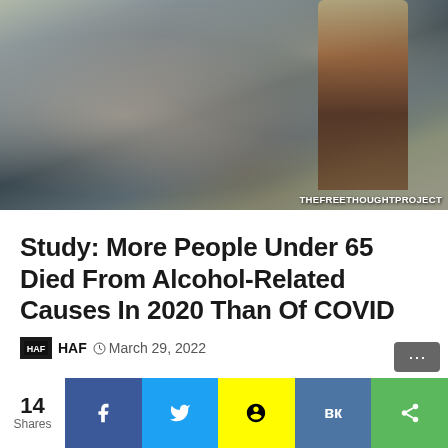[Figure (photo): Man wearing a face mask slumped over a table holding a glass of whiskey, with a bottle of alcohol beside him. Watermark reads THEFREETHOUGHTPROJECT in bottom right corner.]
Study: More People Under 65 Died From Alcohol-Related Causes In 2020 Than Of COVID
HAF  March 29, 2022
14 Shares